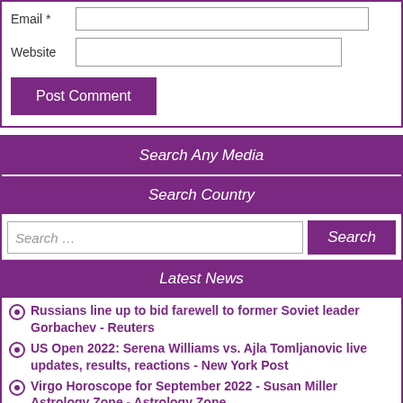Email *
Website
Post Comment
Search Any Media
Search Country
Search ...
Search
Latest News
Russians line up to bid farewell to former Soviet leader Gorbachev - Reuters
US Open 2022: Serena Williams vs. Ajla Tomljanovic live updates, results, reactions - New York Post
Virgo Horoscope for September 2022 - Susan Miller Astrology Zone - Astrology Zone
Solid August jobs report leaves another jumbo Fed rate hike on the table in September - Fox Business